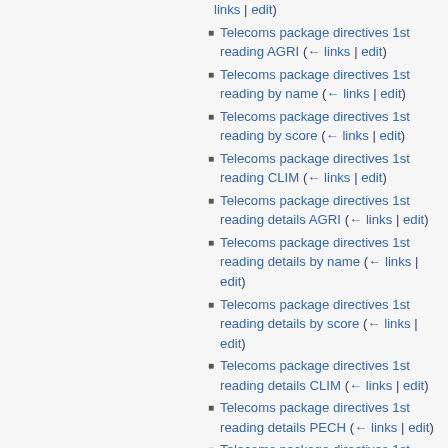links | edit)
Telecoms package directives 1st reading AGRI  (← links | edit)
Telecoms package directives 1st reading by name  (← links | edit)
Telecoms package directives 1st reading by score  (← links | edit)
Telecoms package directives 1st reading CLIM  (← links | edit)
Telecoms package directives 1st reading details AGRI  (← links | edit)
Telecoms package directives 1st reading details by name  (← links | edit)
Telecoms package directives 1st reading details by score  (← links | edit)
Telecoms package directives 1st reading details CLIM  (← links | edit)
Telecoms package directives 1st reading details PECH  (← links | edit)
Telecoms package directives 1st reading details PSE  (← links | edit)